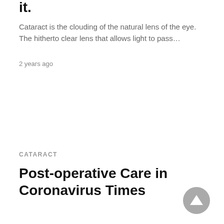it.
Cataract is the clouding of the natural lens of the eye. The hitherto clear lens that allows light to pass…
2 years ago
CATARACT
Post-operative Care in Coronavirus Times